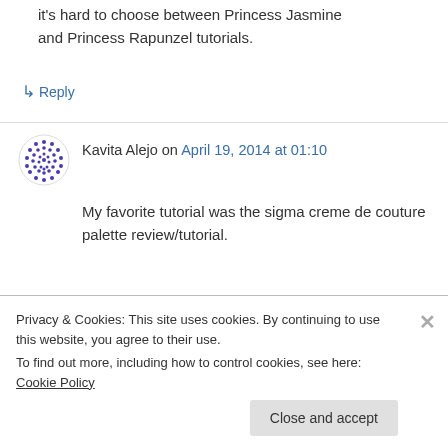it's hard to choose between Princess Jasmine and Princess Rapunzel tutorials.
↳ Reply
Kavita Alejo on April 19, 2014 at 01:10
My favorite tutorial was the sigma creme de couture palette review/tutorial.
↳ Reply
Privacy & Cookies: This site uses cookies. By continuing to use this website, you agree to their use. To find out more, including how to control cookies, see here: Cookie Policy
Close and accept